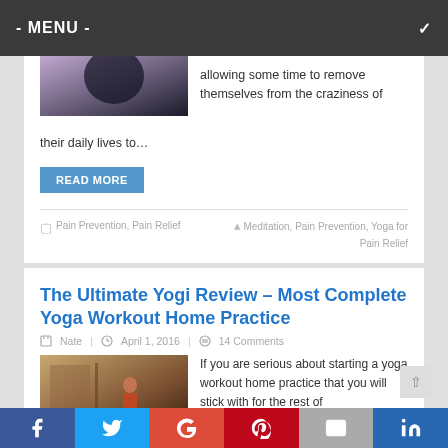- MENU -
allowing some time to remove themselves from the craziness of their daily lives to…
READ MORE
Pain Prevention, Pain Relief
Meditation, Pain Prevention, Yoga for Pain Relief
The Ultimate Yogi Review – Most Complete Yoga Workout Home Practice
Nate | April 1, 2016 | 14 Comments
[Figure (photo): Person standing in a yoga studio room]
If you are serious about starting a yoga workout home practice that you will stick with for the rest of